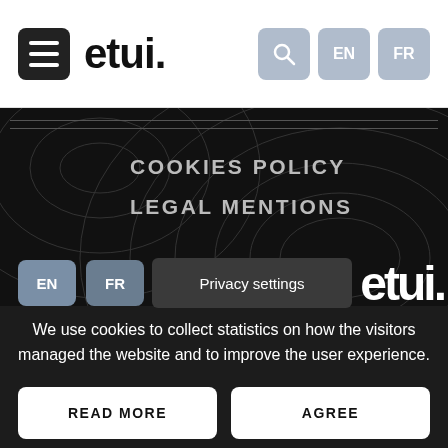[Figure (screenshot): etui website header with hamburger menu, logo 'etui.', search icon, EN and FR language buttons]
COOKIES POLICY
LEGAL MENTIONS
Privacy settings
We use cookies to collect statistics on how the visitors managed the website and to improve the user experience.
READ MORE
AGREE
DISAGREE